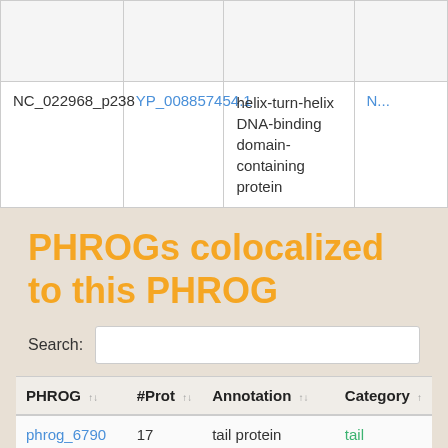|  |  | helix-turn-helix DNA-binding domain-containing protein | N... |
| --- | --- | --- | --- |
|  |  |  |  |
| NC_022968_p238 | YP_008857454.1 | helix-turn-helix DNA-binding domain-containing protein | N... |
PHROGs colocalized to this PHROG
Search:
| PHROG | #Prot | Annotation | Category |
| --- | --- | --- | --- |
| phrog_6790 | 17 | tail protein | tail |
| phrog_8785 | 13 | no annotation | unknown function |